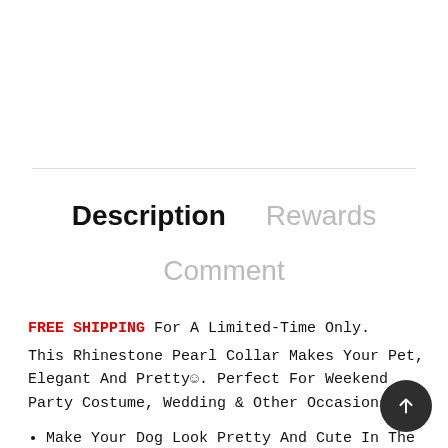Description   Rewards   Comment
FREE SHIPPING For A Limited-Time Only.
This Rhinestone Pearl Collar Makes Your Pet, Elegant And Pretty☺. Perfect For Weekend Party Costume, Wedding & Other Occasions.
Make Your Dog Look Pretty And Cute In The Cro
Adjustable Easy Clasp Fastening With Extender Help To